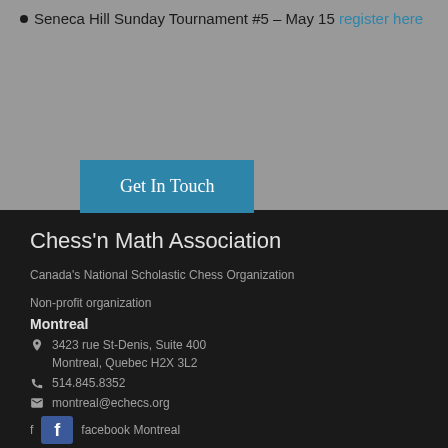Seneca Hill Sunday Tournament #5 - May 15 register here
Get In Touch
Chess'n Math Association
Canada's National Scholastic Chess Organization
Non-profit organization
Montreal
3423 rue St-Denis, Suite 400 Montreal, Quebec H2X 3L2
514.845.8352
montreal@echecs.org
facebook Montreal